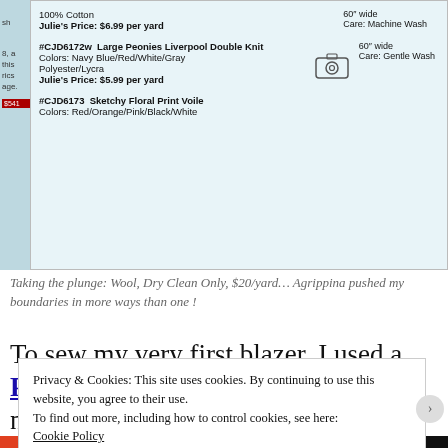[Figure (screenshot): Screenshot of a fabric shopping website listing multiple fabrics: 100% Cotton at Julie's Price $6.99 per yard (60 wide, Care: Machine Wash), #CJD6172w Large Peonies Liverpool Double Knit Colors: Navy Blue/Red/White/Gray Polyester/Lycra Julie's Price $5.99 per yard (60 wide, Care: Gentle Wash), #CJD6173 Sketchy Floral Print Voile Colors: Red/Orange/Pink/Black/White]
Taking the plunge: Wool, Dry Clean Only, $20/yard... Agrippina pushed my boundaries in more ways than one !
To sew my very first blazer, I used a PDF pattern from Lekala. Although not without flaws, I learned in strides how
Privacy & Cookies: This site uses cookies. By continuing to use this website, you agree to their use.
To find out more, including how to control cookies, see here:
Cookie Policy
Close and accept